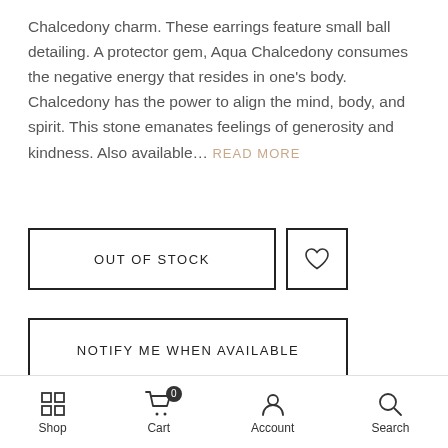Chalcedony charm. These earrings feature small ball detailing. A protector gem, Aqua Chalcedony consumes the negative energy that resides in one's body. Chalcedony has the power to align the mind, body, and spirit. This stone emanates feelings of generosity and kindness. Also available… READ MORE
[Figure (screenshot): OUT OF STOCK button with border, and a wishlist heart icon button with border]
[Figure (screenshot): NOTIFY ME WHEN AVAILABLE button with border]
Size Guide   Delivery & Return
[Figure (screenshot): Scroll to top arrow button]
[Figure (screenshot): Bottom navigation bar with Shop, Cart (0), Account, Search icons]